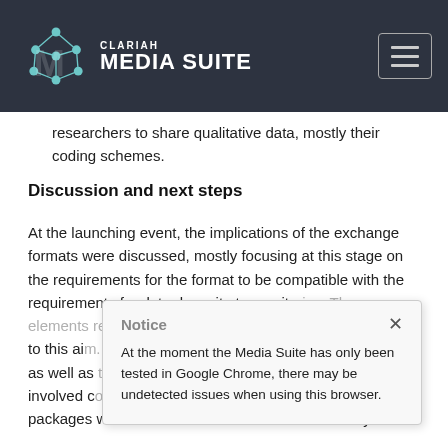CLARIAH MEDIA SUITE
researchers to share qualitative data, mostly their coding schemes.
Discussion and next steps
At the launching event, the implications of the exchange formats were discussed, mostly focusing at this stage on the requirements for the format to be compatible with the requirements for data deposit at repositories. The elements required for the standard to be more suitable to this aim. A second version of the exchange format, as well as the dissemination activities among the involved communities and the users of the QDAS packages were listed as the main actions to take by the
Notice
At the moment the Media Suite has only been tested in Google Chrome, there may be undetected issues when using this browser.